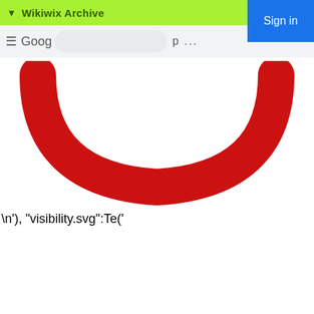▼ Wikiwix Archive
[Figure (screenshot): Partial screenshot of a browser interface showing Google logo area (partially cropped browser toolbar with menu icon, Google text, URL bar, p text, dots, and a blue Sign in button on the right)]
[Figure (illustration): Large red rounded arc/smile shape on white background, resembling the bottom portion of a circle with thick red stroke]
\n'), "visibility.svg":Te('